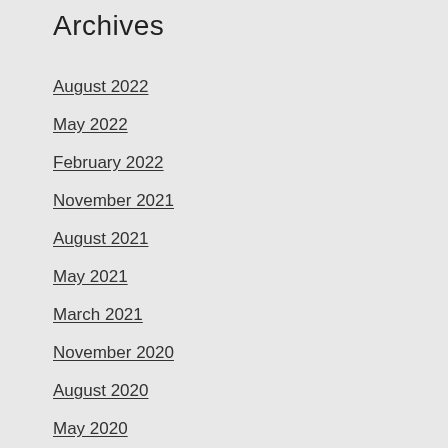Archives
August 2022
May 2022
February 2022
November 2021
August 2021
May 2021
March 2021
November 2020
August 2020
May 2020
February 2020